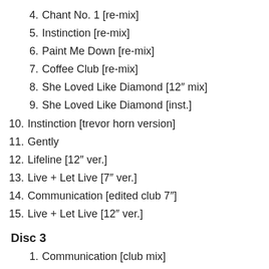4. Chant No. 1 [re-mix]
5. Instinction [re-mix]
6. Paint Me Down [re-mix]
7. Coffee Club [re-mix]
8. She Loved Like Diamond [12″ mix]
9. She Loved Like Diamond [inst.]
10. Instinction [trevor horn version]
11. Gently
12. Lifeline [12″ ver.]
13. Live + Let Live [7″ ver.]
14. Communication [edited club 7″]
15. Live + Let Live [12″ ver.]
Disc 3
1. Communication [club mix]
2. Lifeline [edited remix for USA]